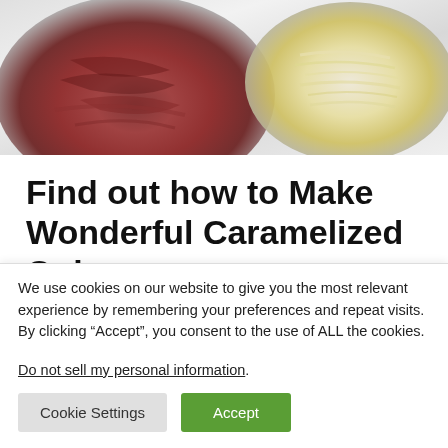[Figure (photo): Two glass bowls on a marble surface: left bowl contains caramelized red onions, right bowl contains shredded cheese]
Find out how to Make Wonderful Caramelized Onions
After you slather your pizza crust with BBQ sauce and shredded hen, you solely have the caramelized onions and
We use cookies on our website to give you the most relevant experience by remembering your preferences and repeat visits. By clicking “Accept”, you consent to the use of ALL the cookies.
Do not sell my personal information.